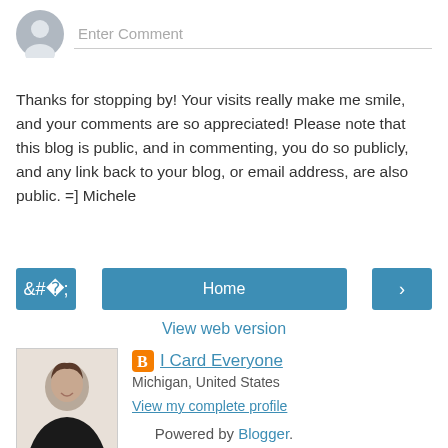[Figure (other): Comment input area with user avatar icon and 'Enter Comment' placeholder text input field]
Thanks for stopping by! Your visits really make me smile, and your comments are so appreciated! Please note that this blog is public, and in commenting, you do so publicly, and any link back to your blog, or email address, are also public. =] Michele
[Figure (other): Navigation row with left arrow button, Home button, and right arrow button]
View web version
[Figure (photo): Profile section with photo of a woman smiling, Blogger icon, blog name 'I Card Everyone', location 'Michigan, United States', and link 'View my complete profile']
Powered by Blogger.